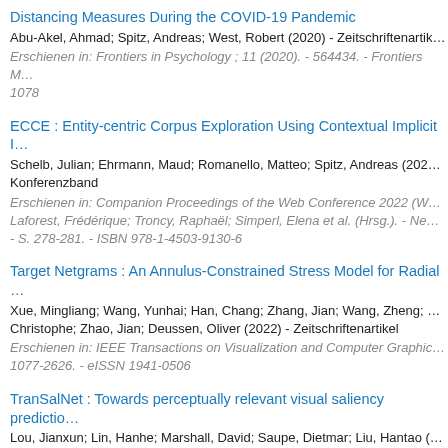Distancing Measures During the COVID-19 Pandemic
Abu-Akel, Ahmad; Spitz, Andreas; West, Robert (2020) - Zeitschriftenartik…
Erschienen in: Frontiers in Psychology ; 11 (2020). - 564434. - Frontiers M… 1078
ECCE : Entity-centric Corpus Exploration Using Contextual Implicit I…
Schelb, Julian; Ehrmann, Maud; Romanello, Matteo; Spitz, Andreas (202… Konferenzband
Erschienen in: Companion Proceedings of the Web Conference 2022 (W… Laforest, Frédérique; Troncy, Raphaël; Simperl, Elena et al. (Hrsg.). - Ne… - S. 278-281. - ISBN 978-1-4503-9130-6
Target Netgrams : An Annulus-Constrained Stress Model for Radial …
Xue, Mingliang; Wang, Yunhai; Han, Chang; Zhang, Jian; Wang, Zheng; … Christophe; Zhao, Jian; Deussen, Oliver (2022) - Zeitschriftenartikel
Erschienen in: IEEE Transactions on Visualization and Computer Graphic… 1077-2626. - eISSN 1941-0506
TranSalNet : Towards perceptually relevant visual saliency predictio…
Lou, Jianxun; Lin, Hanhe; Marshall, David; Saupe, Dietmar; Liu, Hantao (… Zeitschriftenartikel
Erschienen in: Neurocomputing ; 494 (2022). - S. 455-467. - Elsevier. - IS… 1872-8286